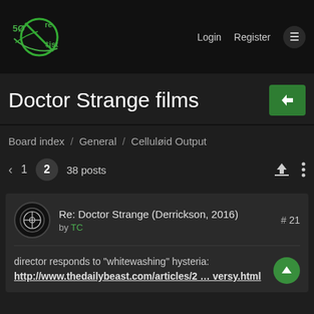SøreList — Login  Register  ☰
Doctor Strange films
Board index / General / Celluløid Output
‹  1  2  38 posts
Re: Doctor Strange (Derrickson, 2016) by TC  # 21
director responds to "whitewashing" hysteria:
http://www.thedailybeast.com/articles/2 … versy.html